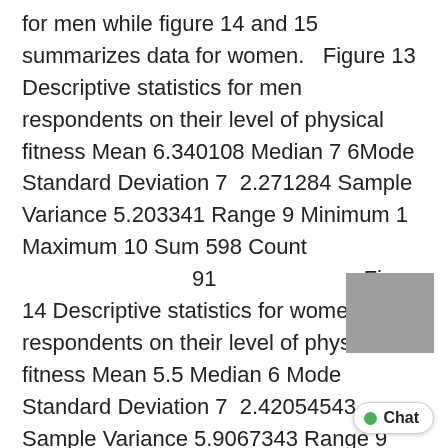for men while figure 14 and 15 summarizes data for women.   Figure 13 Descriptive statistics for men respondents on their level of physical fitness Mean 6.340108 Median 7 6Mode Standard Deviation 7  2.271284 Sample Variance 5.203341 Range 9 Minimum 1 Maximum 10 Sum 598 Count
91                                                Figure 14 Descriptive statistics for women respondents on their level of physical fitness Mean 5.5 Median 6 Mode Standard Deviation 7  2.42054543 Sample Variance 5.9067343 Range 9 Minimum 1 Maximum 10 Sum 869 Count                                   169   Figure 15: Histogram of men respondents on their payment   Male response to their level of physical fitness